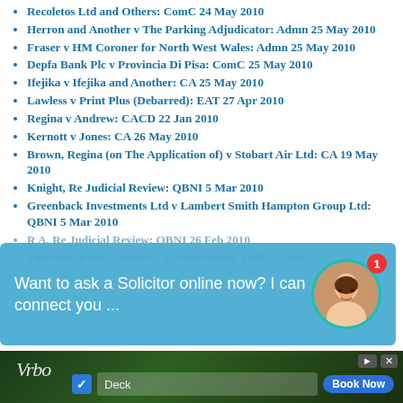Recoletos Ltd and Others: ComC 24 May 2010
Herron and Another v The Parking Adjudicator: Admn 25 May 2010
Fraser v HM Coroner for North West Wales: Admn 25 May 2010
Depfa Bank Plc v Provincia Di Pisa: ComC 25 May 2010
Ifejika v Ifejika and Another: CA 25 May 2010
Lawless v Print Plus (Debarred): EAT 27 Apr 2010
Regina v Andrew: CACD 22 Jan 2010
Kernott v Jones: CA 26 May 2010
Brown, Regina (on The Application of) v Stobart Air Ltd: CA 19 May 2010
Knight, Re Judicial Review: QBNI 5 Mar 2010
Greenback Investments Ltd v Lambert Smith Hampton Group Ltd: QBNI 5 Mar 2010
R A, Re Judicial Review: QBNI 26 Feb 2010
Vaseebaran and Another v Uthavaranian: ChD 21 May
[Figure (screenshot): Chat widget overlay: 'Want to ask a Solicitor online now? I can connect you ...' with avatar photo and notification badge showing 1]
[Figure (screenshot): Vrbo advertisement banner with deck search input and Book Now button]